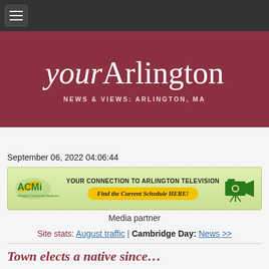yourArlington — NEWS & VIEWS: ARLINGTON, MA
September 06, 2022 04:06:44
[Figure (other): ACMI banner ad: YOUR CONNECTION TO ARLINGTON TELEVISION — Find the Current Schedule HERE! with ACMI logo and camera icon]
Media partner
Site stats: August traffic | Cambridge Day: News >>
Town elects a native since…